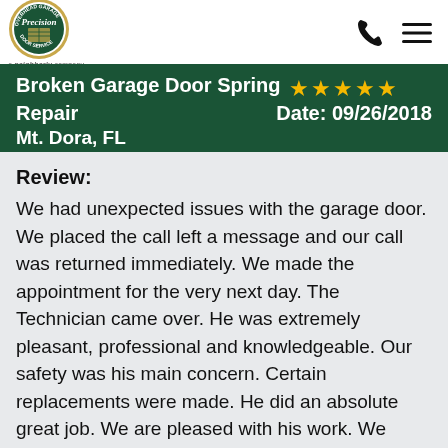Precision Door Service — a neighborly company
Broken Garage Door Spring Repair ★★★★★ Date: 09/26/2018 Mt. Dora, FL
Review:
We had unexpected issues with the garage door. We placed the call left a message and our call was returned immediately. We made the appointment for the very next day. The Technician came over. He was extremely pleasant, professional and knowledgeable. Our safety was his main concern. Certain replacements were made. He did an absolute great job. We are pleased with his work. We would definitely recommend this company.